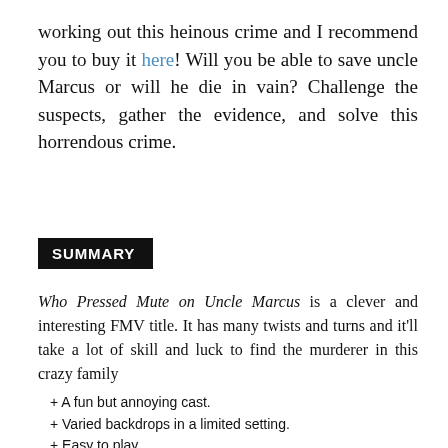working out this heinous crime and I recommend you to buy it here! Will you be able to save uncle Marcus or will he die in vain? Challenge the suspects, gather the evidence, and solve this horrendous crime.
SUMMARY
Who Pressed Mute on Uncle Marcus is a clever and interesting FMV title. It has many twists and turns and it'll take a lot of skill and luck to find the murderer in this crazy family
+ A fun but annoying cast.
+ Varied backdrops in a limited setting.
+ Easy to play.